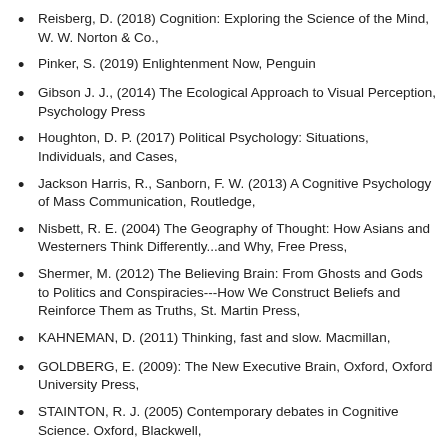Reisberg, D. (2018) Cognition: Exploring the Science of the Mind, W. W. Norton & Co.,
Pinker, S. (2019) Enlightenment Now, Penguin
Gibson J. J., (2014) The Ecological Approach to Visual Perception, Psychology Press
Houghton, D. P. (2017) Political Psychology: Situations, Individuals, and Cases,
Jackson Harris, R., Sanborn, F. W. (2013) A Cognitive Psychology of Mass Communication, Routledge,
Nisbett, R. E. (2004) The Geography of Thought: How Asians and Westerners Think Differently...and Why, Free Press,
Shermer, M. (2012) The Believing Brain: From Ghosts and Gods to Politics and Conspiracies---How We Construct Beliefs and Reinforce Them as Truths, St. Martin Press,
KAHNEMAN, D. (2011) Thinking, fast and slow. Macmillan,
GOLDBERG, E. (2009): The New Executive Brain, Oxford, Oxford University Press,
STAINTON, R. J. (2005) Contemporary debates in Cognitive Science. Oxford, Blackwell,